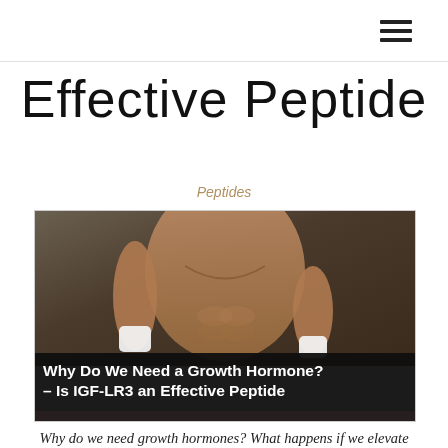Effective Peptide
Effective Peptide
Peptides
[Figure (photo): Shirtless muscular man holding two supplement containers, with overlay text: Why Do We Need a Growth Hormone? – Is IGF-LR3 an Effective Peptide]
Why do we need growth hormones? What happens if we elevate them? The growth hormone production decreases naturally as you age, there is an increased